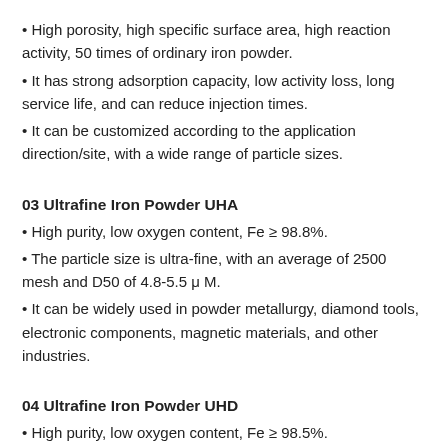• High porosity, high specific surface area, high reaction activity, 50 times of ordinary iron powder.
• It has strong adsorption capacity, low activity loss, long service life, and can reduce injection times.
• It can be customized according to the application direction/site, with a wide range of particle sizes.
03 Ultrafine Iron Powder UHA
• High purity, low oxygen content, Fe ≥ 98.8%.
• The particle size is ultra-fine, with an average of 2500 mesh and D50 of 4.8-5.5 μ M.
• It can be widely used in powder metallurgy, diamond tools, electronic components, magnetic materials, and other industries.
04 Ultrafine Iron Powder UHD
• High purity, low oxygen content, Fe ≥ 98.5%.